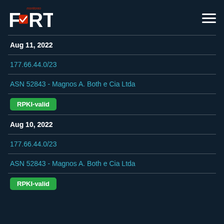FORT monitoreo
Aug 11, 2022
177.66.44.0/23
ASN 52843 - Magnos A. Both e Cia Ltda
RPKI-valid
Aug 10, 2022
177.66.44.0/23
ASN 52843 - Magnos A. Both e Cia Ltda
RPKI-valid